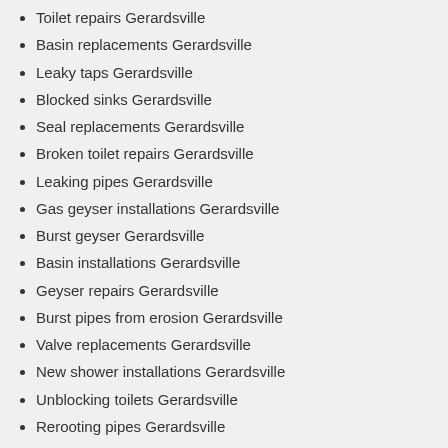Toilet repairs Gerardsville
Basin replacements Gerardsville
Leaky taps Gerardsville
Blocked sinks Gerardsville
Seal replacements Gerardsville
Broken toilet repairs Gerardsville
Leaking pipes Gerardsville
Gas geyser installations Gerardsville
Burst geyser Gerardsville
Basin installations Gerardsville
Geyser repairs Gerardsville
Burst pipes from erosion Gerardsville
Valve replacements Gerardsville
New shower installations Gerardsville
Unblocking toilets Gerardsville
Rerooting pipes Gerardsville
Pipe repairs from tree roots Gerardsville
Leak detection Gerardsville
New elements in geyser Gerardsville
Geyser installations Gerardsville
Leaking toilet repairs Gerardsville
Leaking taps Gerardsville
Basin repairs Gerardsville
Appliance installations Gerardsville
Unblocking toilets Gerardsville
Blocked baths Gerardsville
Gas geyser repairs Gerardsville